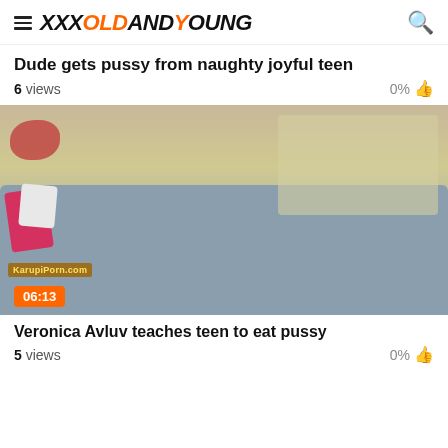XxxOldAndYoung
Dude gets pussy from naughty joyful teen
6 views   0%
[Figure (photo): Video thumbnail showing two people on a gray couch, with a red pillow, watermark KarupiPorn.com, duration badge 06:13]
Veronica Avluv teaches teen to eat pussy
5 views   0%